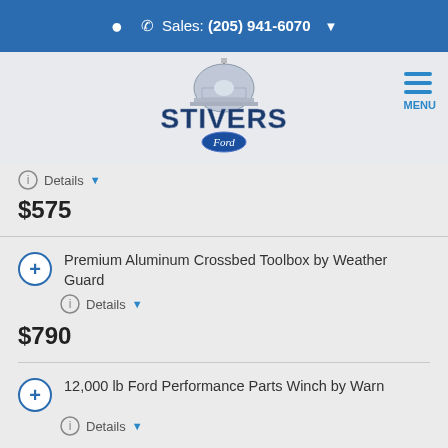Sales: (205) 941-6070
[Figure (logo): Stivers Ford dealership logo with capitol dome graphic]
$575
Premium Aluminum Crossbed Toolbox by Weather Guard — Details — $790
12,000 lb Ford Performance Parts Winch by Warn — Details — $3,000
Aluminum Crossbed Toolbox by Weather Guard - Matte